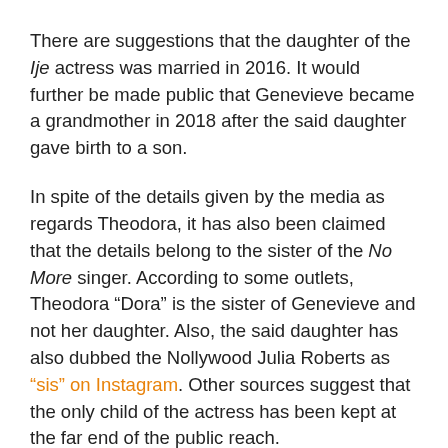There are suggestions that the daughter of the Ije actress was married in 2016. It would further be made public that Genevieve became a grandmother in 2018 after the said daughter gave birth to a son.
In spite of the details given by the media as regards Theodora, it has also been claimed that the details belong to the sister of the No More singer. According to some outlets, Theodora “Dora” is the sister of Genevieve and not her daughter. Also, the said daughter has also dubbed the Nollywood Julia Roberts as “sis” on Instagram. Other sources suggest that the only child of the actress has been kept at the far end of the public reach.